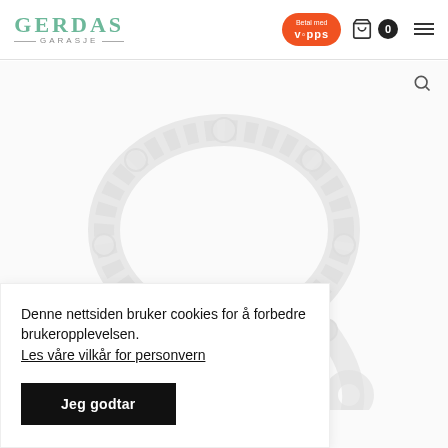[Figure (logo): Gerdas Garasje logo with teal/green text and decorative lines]
[Figure (other): Vipps payment button - orange rounded rectangle with 'Betal med Vipps' text]
[Figure (other): Shopping cart icon with count badge showing 0]
[Figure (photo): Product image of a decorative chain or bracelet in light gray/silver on white background]
Denne nettsiden bruker cookies for å forbedre brukeropplevelsen. Les våre vilkår for personvern
Jeg godtar